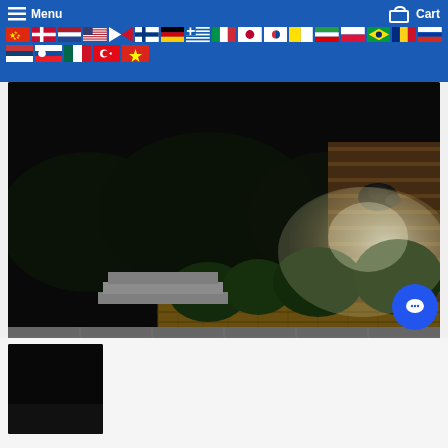Menu | Cart | [flag navigation bar with multiple country flags]
[Figure (photo): Night-time outdoor garden scene with a solar-powered security/wall light mounted on a wooden fence illuminating a garden bed with plants and brick retaining wall, dark sky background, paved patio in foreground]
[Figure (photo): Partial view of a second product/scene image in thumbnail strip at bottom, mostly dark/black]